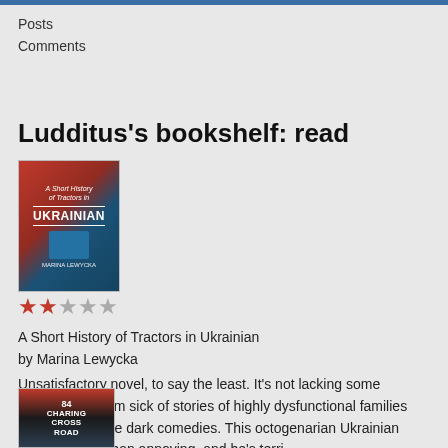Posts
Comments
Ludditus's bookshelf: read
[Figure (illustration): Book cover for 'A Short History of Tractors in Ukrainian' by Marina Lewycka — red and blue cover with tractor illustration]
[Figure (other): 2 out of 5 stars rating (2 filled red stars, 3 empty grey stars)]
A Short History of Tractors in Ukrainian
by Marina Lewycka
Unsatisfactory novel, to say the least. It's not lacking some originality, but I'm sick of stories of highly dysfunctional families make to look like dark comedies. This octogenarian Ukrainian father is more than annoying, and he's terri...
[Figure (illustration): Book cover for '84 Charing Cross Road' — dark cover with red and white accents]